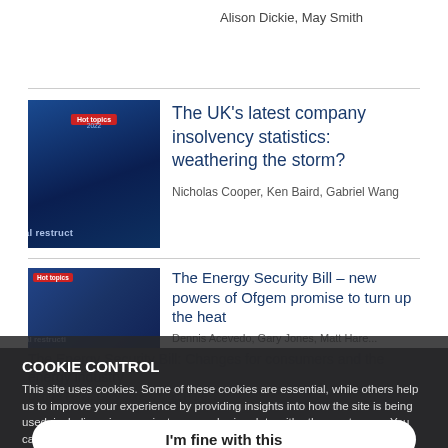Alison Dickie, May Smith
[Figure (photo): Book cover with 'Hot topics' badge on dark blue background, text partially visible: 'al restructi']
The UK’s latest company insolvency statistics: weathering the storm?
Nicholas Cooper, Ken Baird, Gabriel Wang
[Figure (photo): Partially visible article thumbnail with dark blue/coloured overlay]
The Energy Security Bill – new powers of Ofgem promise to turn up the heat
Cookie control overlay popup
COOKIE CONTROL
This site uses cookies. Some of these cookies are essential, while others help us to improve your experience by providing insights into how the site is being used, including - in some instances - sharing data with other customers. You can use this tool to change your cookie settings. Otherwise, we’ll assume you’re OK to continue.
I’m fine with this
[Figure (photo): Dark purple/reddish thumbnail image for land registration article]
Land registration: Register of Overseas Entities goes live today!
More details ⌄